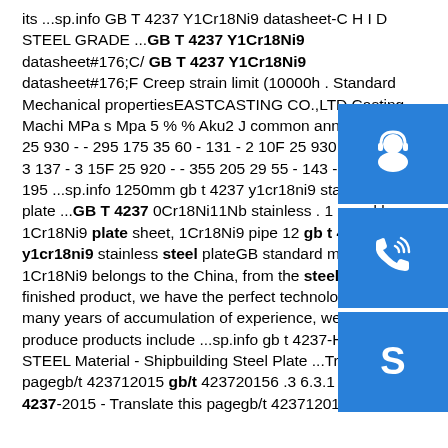its ...sp.info GB T 4237 Y1Cr18Ni9 datasheet-C H I D STEEL GRADE ...GB T 4237 Y1Cr18Ni9 datasheet#176;C/ GB T 4237 Y1Cr18Ni9 datasheet#176;F Creep strain limit (10000h . Standard Mechanical propertiesEASTCASTING CO.,LTD.Casting-Machi MPa s Mpa 5 % % Aku2 J common anneal 1 08F 25 930 - - 295 175 35 60 - 131 - 2 10F 25 930 - - 315 185 3 137 - 3 15F 25 920 - - 355 205 29 55 - 143 - 4 825 325 195 ...sp.info 1250mm gb t 4237 y1cr18ni9 stainless steel plate ...GB T 4237 0Cr18Ni11Nb stainless . 1 round bar, 1Cr18Ni9 plate sheet, 1Cr18Ni9 pipe 12 gb t 4237 y1cr18ni9 stainless steel plateGB standard material 1Cr18Ni9 belongs to the China, from the steel to the finished product, we have the perfect technology and many years of accumulation of experience, we can now produce products include ...sp.info gb t 4237-HERNA STEEL Material - Shipbuilding Steel Plate ...Translate this pagegb/t 423712015 gb/t 423720156 .3 6.3.1 C . GBT 4237-2015 - Translate this pagegb/t 423712015 gb/t
[Figure (infographic): Three blue icon boxes stacked vertically on the right side: headset/customer service icon, phone/call icon, Skype icon]